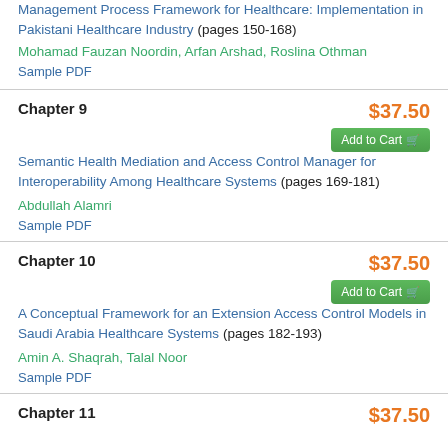Management Process Framework for Healthcare: Implementation in Pakistani Healthcare Industry (pages 150-168)
Mohamad Fauzan Noordin, Arfan Arshad, Roslina Othman
Sample PDF
Chapter 9
$37.50
Add to Cart
Semantic Health Mediation and Access Control Manager for Interoperability Among Healthcare Systems (pages 169-181)
Abdullah Alamri
Sample PDF
Chapter 10
$37.50
Add to Cart
A Conceptual Framework for an Extension Access Control Models in Saudi Arabia Healthcare Systems (pages 182-193)
Amin A. Shaqrah, Talal Noor
Sample PDF
Chapter 11
$37.50